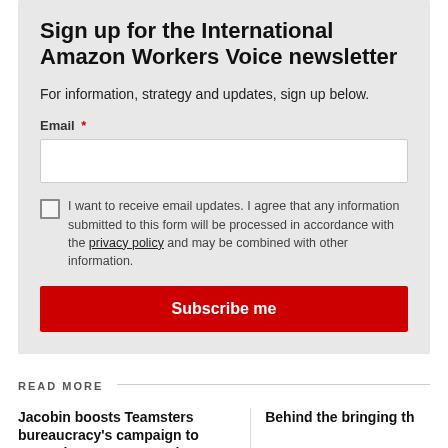Sign up for the International Amazon Workers Voice newsletter
For information, strategy and updates, sign up below.
Email *
I want to receive email updates. I agree that any information submitted to this form will be processed in accordance with the privacy policy and may be combined with other information.
Subscribe me
READ MORE
Jacobin boosts Teamsters bureaucracy’s campaign to “organize” Amazon workers
Behind the bringing th